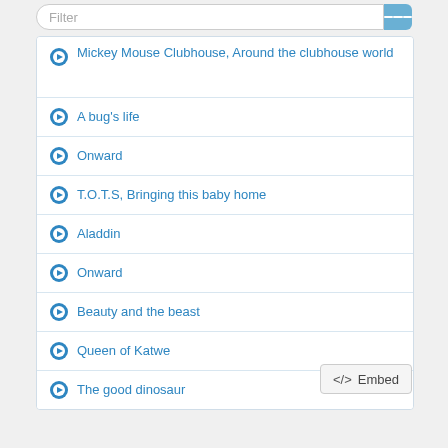Filter
Mickey Mouse Clubhouse, Around the clubhouse world
A bug's life
Onward
T.O.T.S, Bringing this baby home
Aladdin
Onward
Beauty and the beast
Queen of Katwe
The good dinosaur
Embed